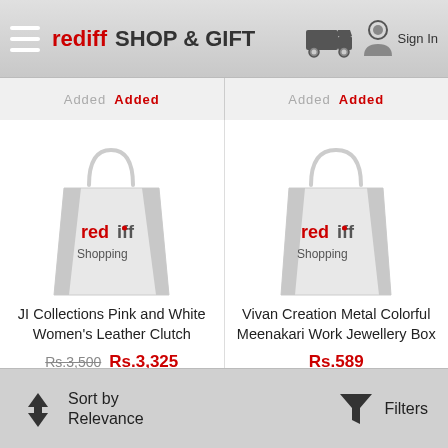rediff SHOP & GIFT — Sign In
Added Added
[Figure (photo): Rediff Shopping branded bag placeholder image for JI Collections Pink and White Women's Leather Clutch]
JI Collections Pink and White Women's Leather Clutch
Rs.3,500  Rs.3,325
[Figure (photo): Rediff Shopping branded bag placeholder image for Vivan Creation Metal Colorful Meenakari Work Jewellery Box]
Vivan Creation Metal Colorful Meenakari Work Jewellery Box
Rs.589
Sort by Relevance   Filters